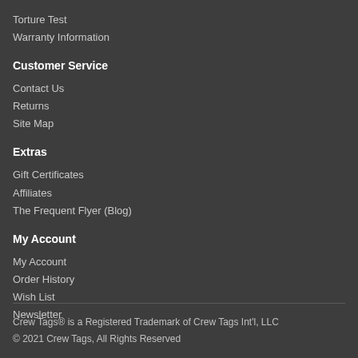Torture Test
Warranty Information
Customer Service
Contact Us
Returns
Site Map
Extras
Gift Certificates
Affiliates
The Frequent Flyer (Blog)
My Account
My Account
Order History
Wish List
Newsletter
Crew Tags® is a Registered Trademark of Crew Tags Int'l, LLC
© 2021 Crew Tags, All Rights Reserved